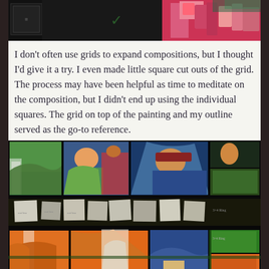[Figure (photo): Top portion of a photo strip showing dark background with colorful items including what appears to be candy or art supplies on the right side]
I don't often use grids to expand compositions, but I thought I'd give it a try.  I even made little square cut outs of the grid.  The process may have been helpful as time to meditate on the composition, but I didn't end up using the individual squares.  The grid on top of the painting and my outline served as the go-to reference.
[Figure (photo): A photo of a painting in progress with a grid overlay, showing a colorful stained-glass style artwork with figures and landscape elements in orange, blue, green, and yellow. Small paper grid cutouts are scattered on the painting surface.]
I practiced in my driveway, playing around with